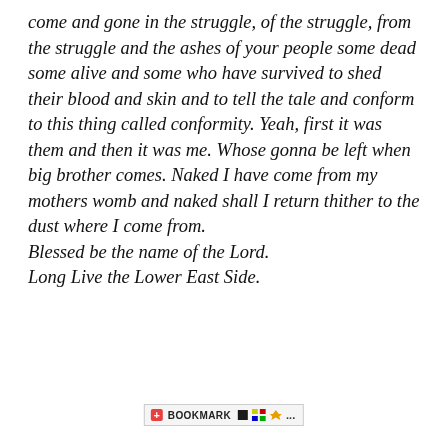come and gone in the struggle, of the struggle, from the struggle and the ashes of your people some dead some alive and some who have survived to shed their blood and skin and to tell the tale and conform to this thing called conformity. Yeah, first it was them and then it was me. Whose gonna be left when big brother comes. Naked I have come from my mothers womb and naked shall I return thither to the dust where I come from.
Blessed be the name of the Lord.
Long Live the Lower East Side.
[Figure (other): Bookmark toolbar button with icons: a red plus/bookmark icon, the word BOOKMARK, a small black square icon, a grid/tiles icon, and a Windows flag icon followed by ellipsis.]